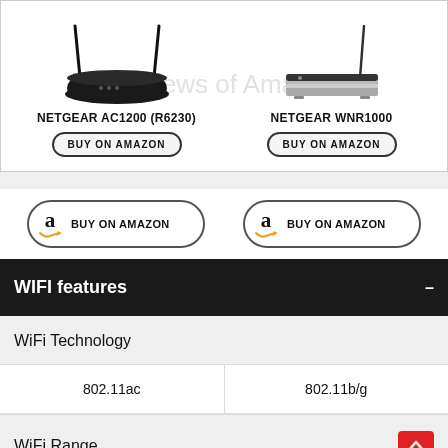[Figure (screenshot): Product comparison header showing two NETGEAR routers with images, names, and buy buttons. Left: NETGEAR AC1200 (R6230), Right: NETGEAR WNR1000. Background watermark text: Reviews of Amazon.]
[Figure (screenshot): Two large 'Buy on Amazon' buttons with Amazon 'a' logo and swoosh, side by side.]
WIFI features
|  | NETGEAR AC1200 (R6230) | NETGEAR WNR1000 |
| --- | --- | --- |
| WiFi Technology | 802.11ac | 802.11b/g |
| WiFi Range |  |  |